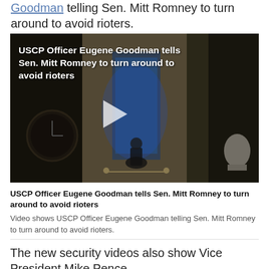Goodman telling Sen. Mitt Romney to turn around to avoid rioters.
[Figure (screenshot): Video thumbnail showing a dark corridor inside the US Capitol at night with a play button overlay. Text overlay reads: USCP Officer Eugene Goodman tells Sen. Mitt Romney to turn around to avoid rioters]
USCP Officer Eugene Goodman tells Sen. Mitt Romney to turn around to avoid rioters
Video shows USCP Officer Eugene Goodman telling Sen. Mitt Romney to turn around to avoid rioters.
The new security videos also show Vice President Mike Pence...